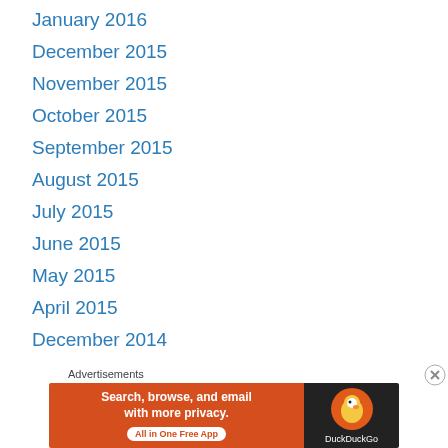January 2016
December 2015
November 2015
October 2015
September 2015
August 2015
July 2015
June 2015
May 2015
April 2015
December 2014
Advertisements
[Figure (other): DuckDuckGo advertisement banner: Search, browse, and email with more privacy. All in One Free App.]